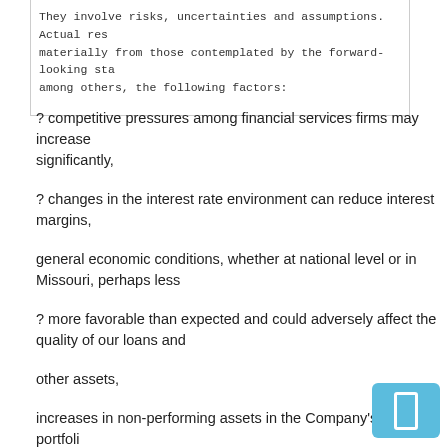They involve risks, uncertainties and assumptions. Actual res materially from those contemplated by the forward-looking sta among others, the following factors:
? competitive pressures among financial services firms may increase significantly,
? changes in the interest rate environment can reduce interest margins,
general economic conditions, whether at national level or in Missouri, perhaps less
? more favorable than expected and could adversely affect the quality of our loans and
other assets,
increases in non-performing assets in the Company's loan portfolios